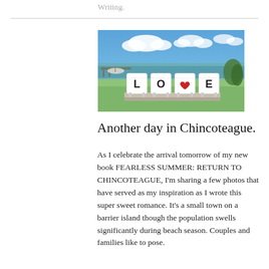Writing.
[Figure (photo): Four large white Adirondack chairs on a platform outdoors near a waterfront, each bearing the letters L, O, a red heart symbol, and E spelling LOVE, under a partly cloudy blue sky.]
Another day in Chincoteague.
As I celebrate the arrival tomorrow of my new book FEARLESS SUMMER: RETURN TO CHINCOTEAGUE, I'm sharing a few photos that have served as my inspiration as I wrote this super sweet romance. It's a small town on a barrier island though the population swells significantly during beach season. Couples and families like to pose.